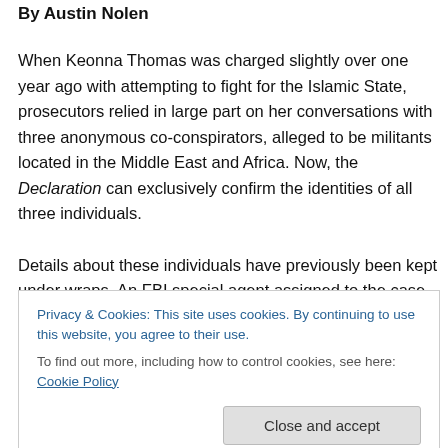By Austin Nolen
When Keonna Thomas was charged slightly over one year ago with attempting to fight for the Islamic State, prosecutors relied in large part on her conversations with three anonymous co-conspirators, alleged to be militants located in the Middle East and Africa. Now, the Declaration can exclusively confirm the identities of all three individuals.
Details about these individuals have previously been kept under wraps. An FBI special agent assigned to the case
Privacy & Cookies: This site uses cookies. By continuing to use this website, you agree to their use.
To find out more, including how to control cookies, see here: Cookie Policy
Close and accept
defense with "open source news articles about" the three